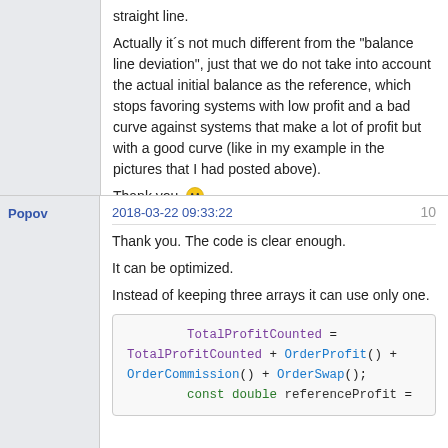straight line.
Actually it´s not much different from the "balance line deviation", just that we do not take into account the actual initial balance as the reference, which stops favoring systems with low profit and a bad curve against systems that make a lot of profit but with a good curve (like in my example in the pictures that I had posted above).
Thank you 🙂
Popov
2018-03-22 09:33:22
10
Thank you. The code is clear enough.
It can be optimized.
Instead of keeping three arrays it can use only one.
TotalProfitCounted = TotalProfitCounted + OrderProfit() + OrderCommission() + OrderSwap();
            const double referenceProfit =